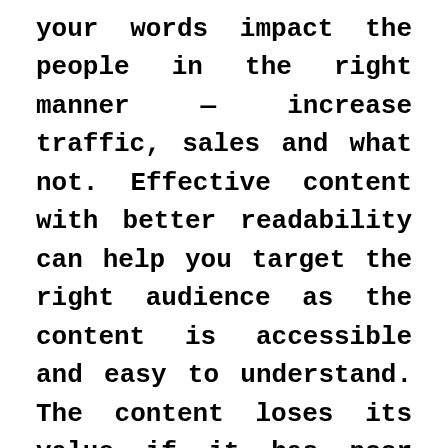your words impact the people in the right manner — increase traffic, sales and what not. Effective content with better readability can help you target the right audience as the content is accessible and easy to understand. The content loses its value if it has poor readability and is inaccessible to the audience. Good readability provides effective communication and is required in almost all documents whether student documents or legal ones. Readable content matters a lot in digital marketing as it is more effective to influence the target audience and keep them